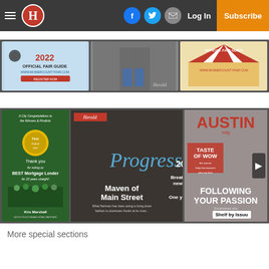≡ H | Facebook | Twitter | Email | Log In | Subscribe
[Figure (screenshot): Top carousel row showing three images: 2022 Official Fair Guide (mowercountyfair.com), a person in a wheelchair at Herald, and a vintage circus-tent Official Fair Guide.]
[Figure (screenshot): Bottom carousel row with three magazine covers: Thank you for voting us BEST Mortgage Lender (mortgage ad), Progress 2020 - Maven of Main Street / Breathing New Life, and Austin Magazine - Taste of Wow / Following Your Passion. Shelf by Issuu label visible.]
More special sections